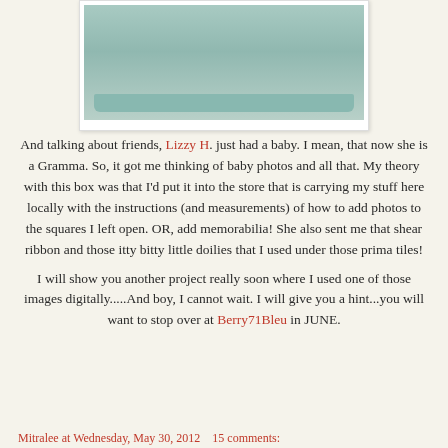[Figure (photo): Photo of a decorative painted wooden box/shelf with mint green color, viewed from the front showing compartments, sitting on grass]
And talking about friends, Lizzy H. just had a baby. I mean, that now she is a Gramma. So, it got me thinking of baby photos and all that. My theory with this box was that I'd put it into the store that is carrying my stuff here locally with the instructions (and measurements) of how to add photos to the squares I left open. OR, add memorabilia! She also sent me that shear ribbon and those itty bitty little doilies that I used under those prima tiles!
I will show you another project really soon where I used one of those images digitally.....And boy, I cannot wait. I will give you a hint...you will want to stop over at Berry71Bleu in JUNE.
Mitralee at Wednesday, May 30, 2012    15 comments: